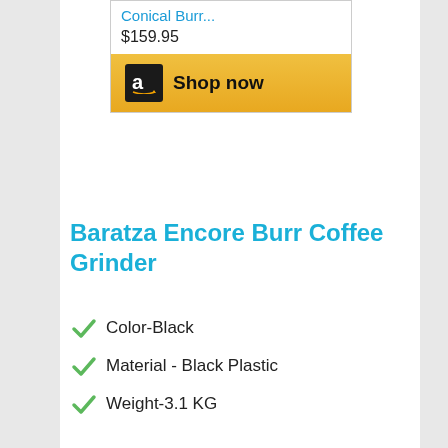[Figure (screenshot): Amazon product card snippet showing 'Conical Burr...' product title link in blue, price $159.95, and a 'Shop now' button with Amazon logo on golden/yellow background]
Baratza Encore Burr Coffee Grinder
Color-Black
Material - Black Plastic
Weight-3.1 KG
Dimension -6.3 x 4.7 x 13.8 inc
[Figure (screenshot): Advertisement banner for HC salon with yellow/black logo, text 'View store hours, get directions, or call your salon!' and blue navigation arrow icon]